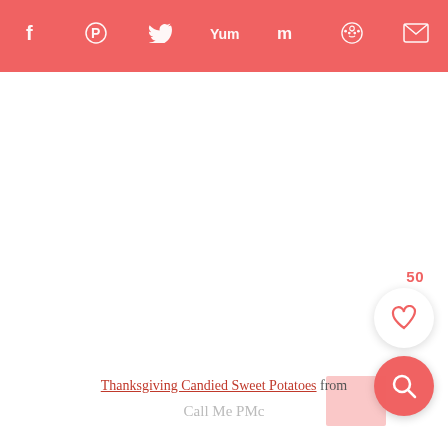Share icons bar: Facebook, Pinterest, Twitter, Yummly, Mix, Reddit, Email
50
Thanksgiving Candied Sweet Potatoes from Call Me PMc